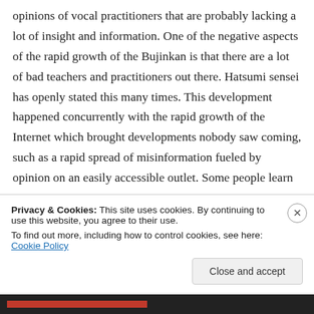opinions of vocal practitioners that are probably lacking a lot of insight and information. One of the negative aspects of the rapid growth of the Bujinkan is that there are a lot of bad teachers and practitioners out there. Hatsumi sensei has openly stated this many times. This development happened concurrently with the rapid growth of the Internet which brought developments nobody saw coming, such as a rapid spread of misinformation fueled by opinion on an easily accessible outlet. Some people learn more, get
Privacy & Cookies: This site uses cookies. By continuing to use this website, you agree to their use.
To find out more, including how to control cookies, see here: Cookie Policy
Close and accept